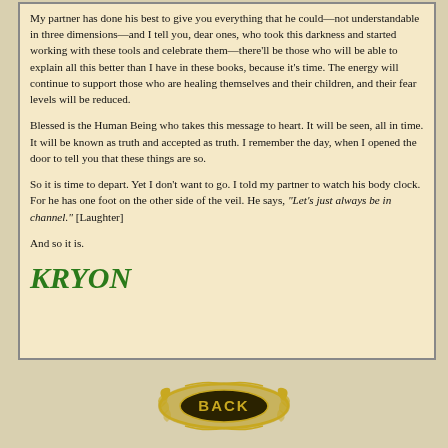My partner has done his best to give you everything that he could—not understandable in three dimensions—and I tell you, dear ones, who took this darkness and started working with these tools and celebrate them—there'll be those who will be able to explain all this better than I have in these books, because it's time. The energy will continue to support those who are healing themselves and their children, and their fear levels will be reduced.
Blessed is the Human Being who takes this message to heart. It will be seen, all in time. It will be known as truth and accepted as truth. I remember the day, when I opened the door to tell you that these things are so.
So it is time to depart. Yet I don't want to go. I told my partner to watch his body clock. For he has one foot on the other side of the veil. He says, "Let's just always be in channel." [Laughter]
And so it is.
KRYON
[Figure (illustration): Decorative golden ornamental badge with the word BACK in the center on a dark oval background, surrounded by filigree scrollwork.]